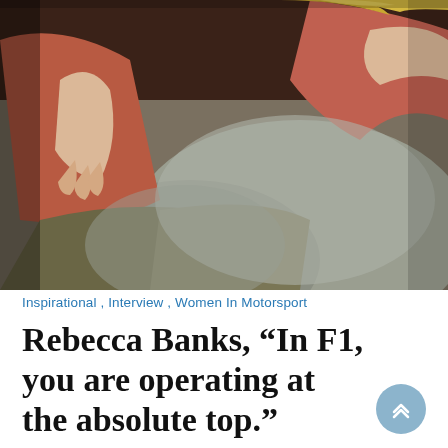[Figure (photo): A woman with blonde hair wearing a terracotta/rust coloured top and olive/khaki trousers, seated on a grey sofa holding a large pillow, photographed from mid-torso down.]
Inspirational , Interview , Women In Motorsport
Rebecca Banks, “In F1, you are operating at the absolute top.”